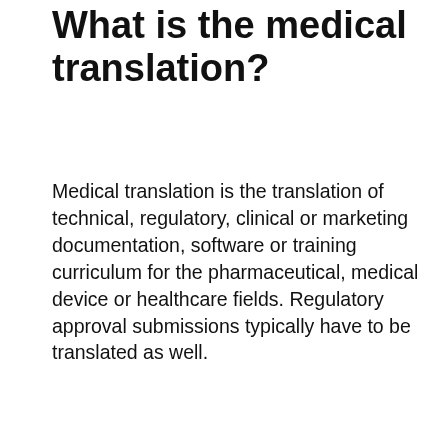What is the medical translation?
Medical translation is the translation of technical, regulatory, clinical or marketing documentation, software or training curriculum for the pharmaceutical, medical device or healthcare fields. Regulatory approval submissions typically have to be translated as well.
What is translation in anatomy?
Medical Definition of Translation. Translation: The process by which the genetic code carried by messenger RNA (mRNA) directs